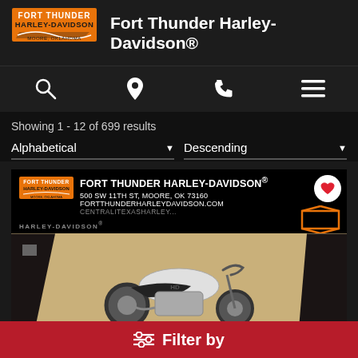Fort Thunder Harley-Davidson®
Showing 1 - 12 of 699 results
Alphabetical  Descending
[Figure (screenshot): Fort Thunder Harley-Davidson advertisement banner showing logo, address 500 SW 11TH ST, MOORE, OK 73160, FORTTHUNDERHARLEYDAVIDSON.COM, CENTRALITEXASHARLEY.. text, and a motorcycle image on tan background]
Filter by